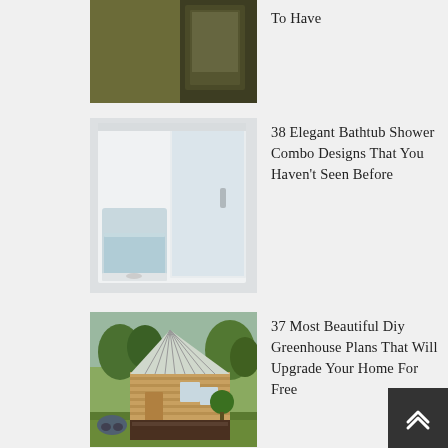[Figure (photo): Partial view of a bathroom with a bathtub, partially cropped at top]
To Have
[Figure (photo): White walk-in bathtub shower combo unit with glass door and water inside]
38 Elegant Bathtub Shower Combo Designs That You Haven't Seen Before
[Figure (photo): Wooden DIY greenhouse structure with glass roof panels in a garden setting]
37 Most Beautiful Diy Greenhouse Plans That Will Upgrade Your Home For Free